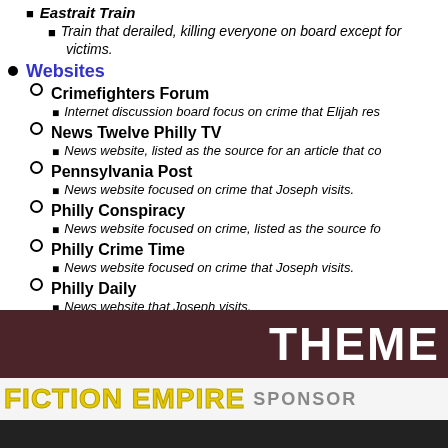Eastrait Train — Train that derailed, killing everyone on board except for victims.
Websites
Crimefighters Forum — Internet discussion board focus on crime that Elijah res...
News Twelve Philly TV — News website, listed as the source for an article that co...
Pennsylvania Post — News website focused on crime that Joseph visits.
Philly Conspiracy — News website focused on crime, listed as the source fo...
Philly Crime Time — News website focused on crime that Joseph visits.
Philly Daily — News website that Joseph visits.
Philly News Post — News website, listed as the source for an article that co...
THEME
FICTION EMPIRE SPONSOR